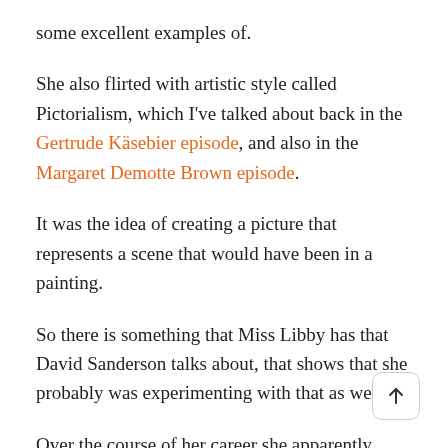some excellent examples of.
She also flirted with artistic style called Pictorialism, which I've talked about back in the Gertrude Käsebier episode, and also in the Margaret Demotte Brown episode.
It was the idea of creating a picture that represents a scene that would have been in a painting.
So there is something that Miss Libby has that David Sanderson talks about, that shows that she probably was experimenting with that as well.
Over the course of her career she apparently